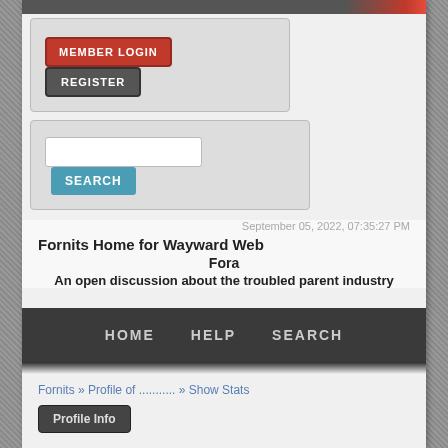[Figure (screenshot): Top bar gradient from dark gray to red]
[Figure (screenshot): Member Login and Register buttons in a gray box]
[Figure (screenshot): Search input field with Search button]
September 05, 2022, 07:35:27 PM
Fornits Home for Wayward Web Fora
An open discussion about the troubled parent industry
[Figure (screenshot): Navigation bar with HOME, HELP, SEARCH links]
Fornits » Profile of ........... » Show Stats
[Figure (screenshot): Profile Info button]
General Statistics - ..........